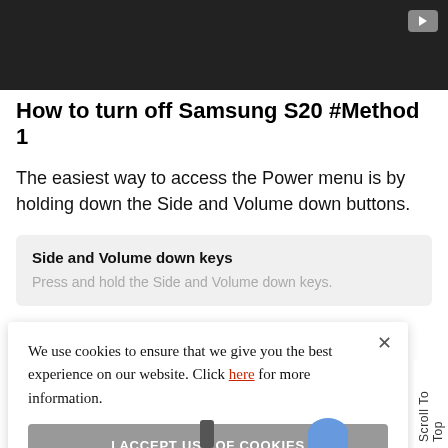[Figure (screenshot): Dark video player bar at the top with a play button icon in the upper right corner]
How to turn off Samsung S20 #Method 1
The easiest way to access the Power menu is by holding down the Side and Volume down buttons.
Side and Volume down keys
Press and hold the Side and Volume down keys.
We use cookies to ensure that we give you the best experience on our website. Click here for more information.
I ACCEPT USE OF COOKIES
Scroll To Top